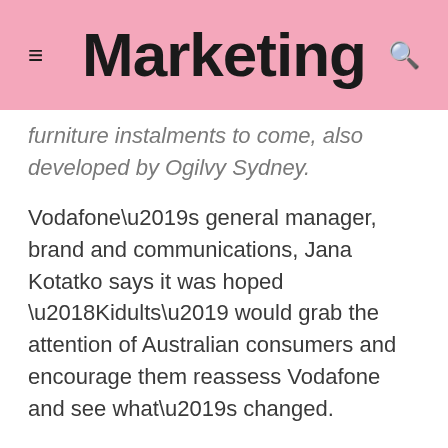Marketing
furniture instalments to come, also developed by Ogilvy Sydney.
Vodafone’s general manager, brand and communications, Jana Kotatko says it was hoped ‘Kidults’ would grab the attention of Australian consumers and encourage them reassess Vodafone and see what’s changed.
“We wanted to powerfully land the message ‘this is a new Vodafone’. With lightning-fast 4G, 40% more coverage across Australia, launch of our highly competitive Red plans and market-leading $5 global roaming offer, this is more than an advertising